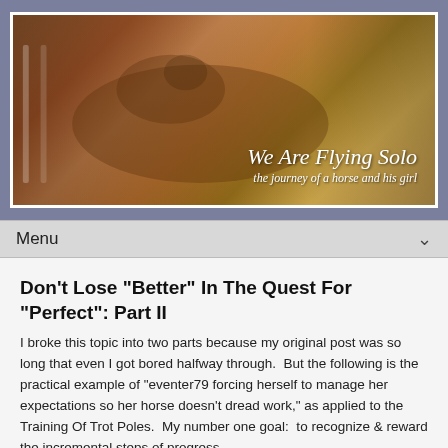[Figure (photo): Header banner photo of a chestnut horse and rider jumping, with text overlay 'We Are Flying Solo - the journey of a horse and his girl']
Menu
Don't Lose "Better" In The Quest For "Perfect": Part II
I broke this topic into two parts because my original post was so long that even I got bored halfway through.  But the following is the practical example of "eventer79 forcing herself to manage her expectations so her horse doesn't dread work," as applied to the Training Of Trot Poles.  My number one goal:  to recognize & reward the incremental steps of progress.
Session 1
On the first attempt at trotting four poles, 5'
[Figure (photo): Green ribbon/rosette badge with star and 'PA' text]